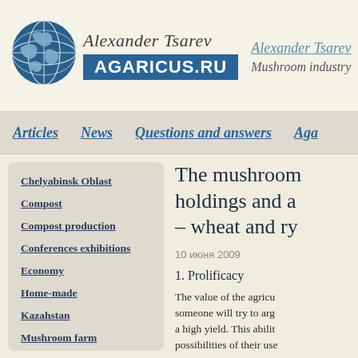[Figure (logo): Globe logo with Alexander Tsarev script text and AGARICUS.RU blue box]
Alexander Tsarev
Mushroom industry
Articles
News
Questions and answers
Aga
Chelyabinsk Oblast
Compost
Compost production
Conferences exhibitions
Economy
Home-made
Kazahstan
Mushroom farm
Mycelium
The mushroom holdings and a – wheat and ry
10 июня 2009
1. Prolificacy
The value of the agricu someone will try to arg a high yield. This ability possibilities of their use